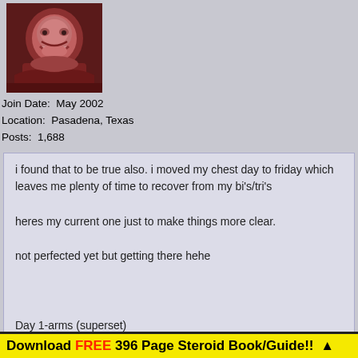[Figure (photo): Avatar image of a smiling Buddha statue figure with reddish-brown tones]
Join Date:  May 2002
Location:  Pasadena, Texas
Posts:  1,688
i found that to be true also. i moved my chest day to friday which leaves me plenty of time to recover from my bi's/tri's

heres my current one just to make things more clear.

not perfected yet but getting there hehe



Day 1-arms (superset)

Preacher curl wide grip 4 sets, 12 reps
Reverse Preacher curls 4 sets, 12 reps
Concentration Curls 4 sets, 12 reps
Standing tri Pull downs 4 sets, 12 reps
Overhead extension 4 sets, 12 reps
Parallel Dips 4 sets, 12 reps
Ab routine
Download FREE 396 Page Steroid Book/Guide!! ▲